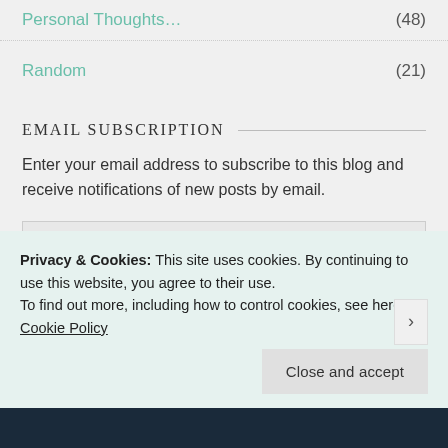Personal Thoughts… (48)
Random (21)
EMAIL SUBSCRIPTION
Enter your email address to subscribe to this blog and receive notifications of new posts by email.
Enter your email address
SIGN ME UP!
Privacy & Cookies: This site uses cookies. By continuing to use this website, you agree to their use.
To find out more, including how to control cookies, see here: Cookie Policy
Close and accept